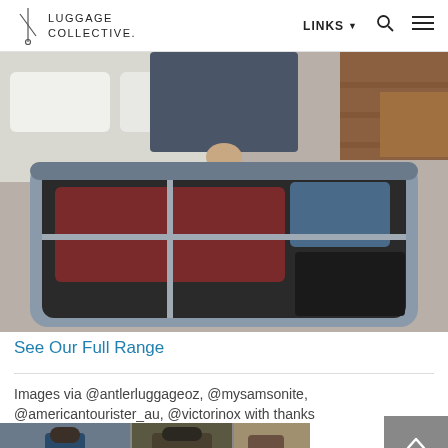LUGGAGE COLLECTIVE.
[Figure (photo): Person packing clothes into an open grey suitcase on a hotel bed. The suitcase contains folded dark red and blue clothing items with straps. Hotel room furniture visible in background.]
See Our Full Range
Images via @antlerluggageoz, @mysamsonite, @americantourister_au, @victorinox with thanks
[Figure (photo): Strip of travel photos showing people from behind in outdoor settings.]